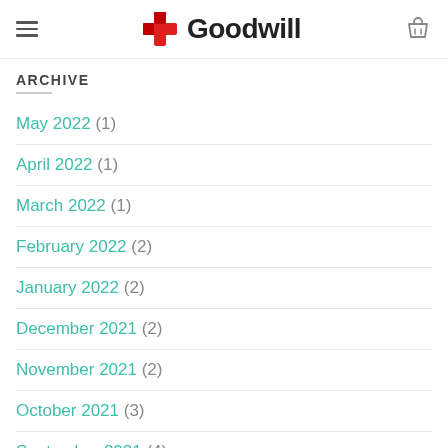Goodwill
ARCHIVE
May 2022 (1)
April 2022 (1)
March 2022 (1)
February 2022 (2)
January 2022 (2)
December 2021 (2)
November 2021 (2)
October 2021 (3)
September 2021 (4)